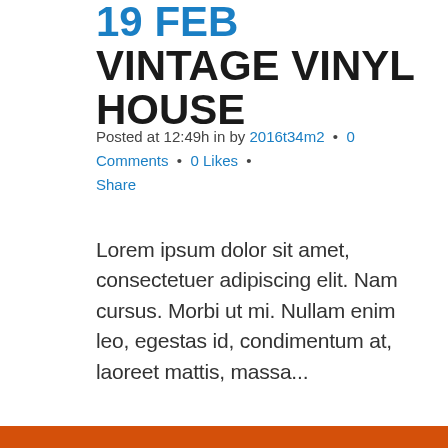19 FEB VINTAGE VINYL HOUSE
Posted at 12:49h in by 2016t34m2 • 0 Comments • 0 Likes • Share
Lorem ipsum dolor sit amet, consectetuer adipiscing elit. Nam cursus. Morbi ut mi. Nullam enim leo, egestas id, condimentum at, laoreet mattis, massa...
READ MORE